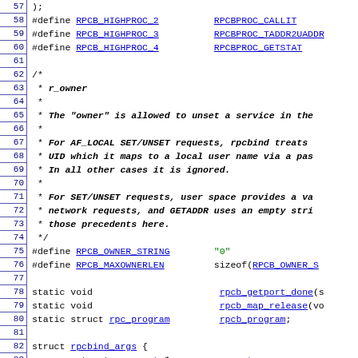[Figure (screenshot): Source code listing showing C preprocessor defines and struct declarations for RPC bind, lines 57-86, with line numbers in blue on left margin and hyperlinked identifiers.]